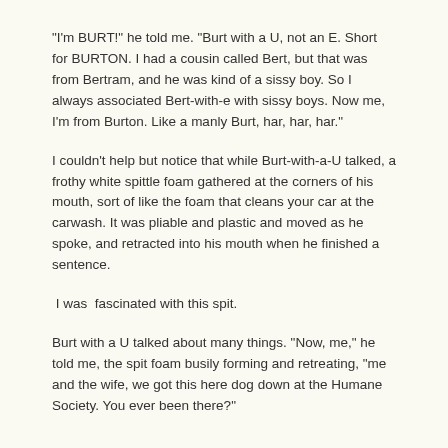"I'm BURT!" he told me.  "Burt with a U, not an E.  Short for BURTON.   I had a cousin called Bert, but that was from Bertram, and he was kind of a sissy boy. So I always associated Bert-with-e with sissy boys. Now me, I'm from Burton. Like a manly Burt, har, har, har."
I couldn't help but notice that while Burt-with-a-U talked, a frothy white spittle foam gathered at the corners of his mouth, sort of like the foam that cleans your car at the carwash.  It was pliable and plastic and moved as he spoke, and retracted into his mouth when he finished a sentence.
I was  fascinated with this spit.
Burt with a U talked about many things.  "Now, me," he told me, the spit foam busily forming and retreating, "me and the wife, we got this here dog down at the Humane Society.  You ever been there?"